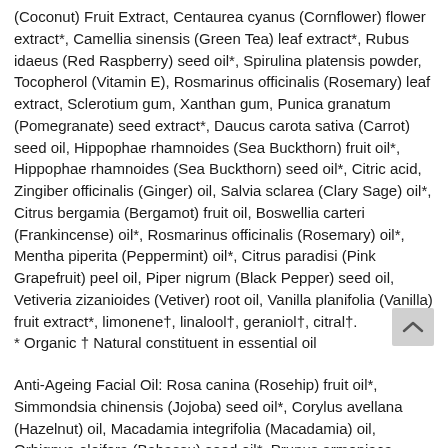(Coconut) Fruit Extract, Centaurea cyanus (Cornflower) flower extract*, Camellia sinensis (Green Tea) leaf extract*, Rubus idaeus (Red Raspberry) seed oil*, Spirulina platensis powder, Tocopherol (Vitamin E), Rosmarinus officinalis (Rosemary) leaf extract, Sclerotium gum, Xanthan gum, Punica granatum (Pomegranate) seed extract*, Daucus carota sativa (Carrot) seed oil, Hippophae rhamnoides (Sea Buckthorn) fruit oil*, Hippophae rhamnoides (Sea Buckthorn) seed oil*, Citric acid, Zingiber officinalis (Ginger) oil, Salvia sclarea (Clary Sage) oil*, Citrus bergamia (Bergamot) fruit oil, Boswellia carteri (Frankincense) oil*, Rosmarinus officinalis (Rosemary) oil*, Mentha piperita (Peppermint) oil*, Citrus paradisi (Pink Grapefruit) peel oil, Piper nigrum (Black Pepper) seed oil, Vetiveria zizanioides (Vetiver) root oil, Vanilla planifolia (Vanilla) fruit extract*, limonene†, linalool†, geraniol†, citral†.
* Organic † Natural constituent in essential oil
Anti-Ageing Facial Oil: Rosa canina (Rosehip) fruit oil*, Simmondsia chinensis (Jojoba) seed oil*, Corylus avellana (Hazelnut) oil, Macadamia integrifolia (Macadamia) oil, Orbignya oleifera (Babassu) seed oil*, Prunus armeniaca